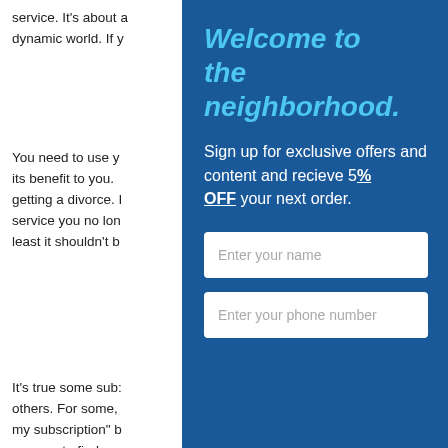service. It's about a dynamic world. If y
You need to use y its benefit to you. getting a divorce. I service you no lon least it shouldn't b
It's true some sub: others. For some, my subscription" b as easy to find as usually prefer direc cancel a service. T representative one customer, even if : months – or years
Welcome to the neighborhood.
Sign up for exclusive offers and content and recieve 5% OFF your next order.
Enter your name
Enter your phone number